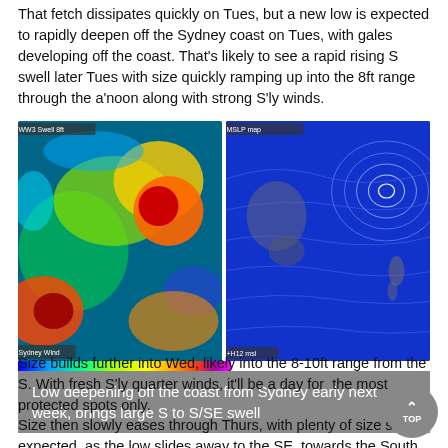That fetch dissipates quickly on Tues, but a new low is expected to rapidly deepen off the Sydney coast on Tues, with gales developing off the coast. That's likely to see a rapid rising S swell later Tues with size quickly ramping up into the 8ft range through the a'noon along with strong S'ly winds.
[Figure (map): Two side-by-side weather maps showing wind/swell patterns around Australia and New Zealand. Left map shows colourful wind/swell intensity (blue, green, yellow, orange, red, purple). Right map shows isobar/swell lines on a blue background.]
Low deepening off the coast from Sydney early next week, brings large S to S/SE swell
Size builds further into Wed, likely into the 8-10ft range from the S. With fresh S'ly quarter winds, it'll be a day for  the most protected spots only.
Size then slowly eases through Thurs, with plenty of size still expected, as the low slides away to the SE, towards the South